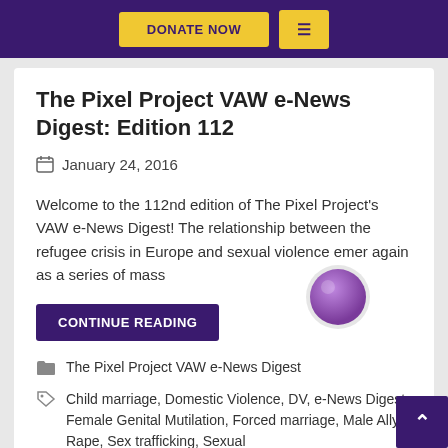DONATE NOW  ≡
The Pixel Project VAW e-News Digest: Edition 112
January 24, 2016
Welcome to the 112nd edition of The Pixel Project's VAW e-News Digest! The relationship between the refugee crisis in Europe and sexual violence emer again as a series of mass
CONTINUE READING
The Pixel Project VAW e-News Digest
Child marriage, Domestic Violence, DV, e-News Digest, Female Genital Mutilation, Forced marriage, Male Ally, Rape, Sex trafficking, Sexual